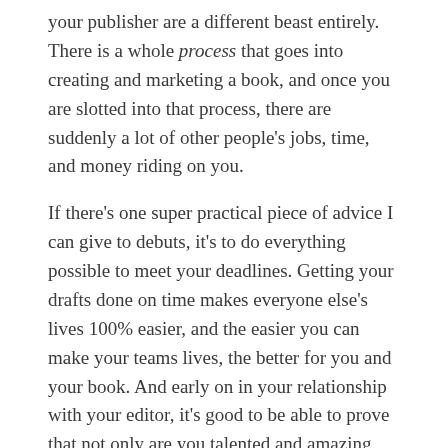your publisher are a different beast entirely. There is a whole process that goes into creating and marketing a book, and once you are slotted into that process, there are suddenly a lot of other people's jobs, time, and money riding on you.

If there's one super practical piece of advice I can give to debuts, it's to do everything possible to meet your deadlines. Getting your drafts done on time makes everyone else's lives 100% easier, and the easier you can make your teams lives, the better for you and your book. And early on in your relationship with your editor, it's good to be able to prove that not only are you talented and amazing (which they know, because they bought your book) but you also work hard and get shit done. Being talented and amazing will only get you so far– getting shit done is far, far more important in the long run. And one of the dirty secrets of the publishing